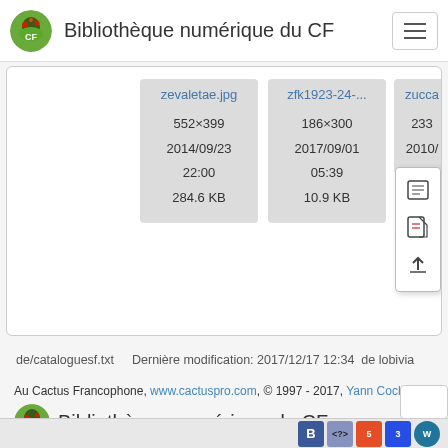Bibliothèque numérique du CF
[Figure (screenshot): File browser showing image cards: zevaletae.jpg (552×399, 2014/09/23 22:00, 284.6 KB), zfk1923-24-... (186×300, 2017/09/01 05:39, 10.9 KB), zucca... (partially visible, 233..., 2010/...) with a popup context menu showing document, PDF, and upload icons]
de/cataloguesf.txt    Dernière modification: 2017/12/17 12:34  de lobivia
Au Cactus Francophone, www.cactuspro.com, © 1997 - 2017, Yann Cochard
Bibliothèque numérique du CF
Bootstrap PHP HTML5 CSS3 WordPress badges